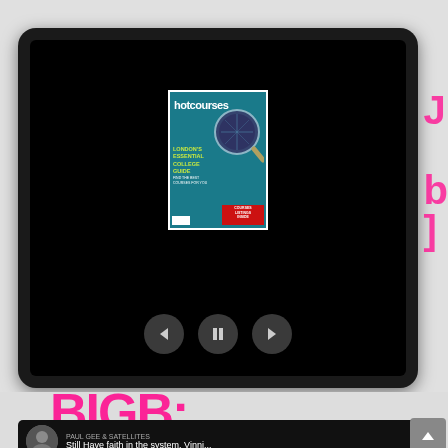[Figure (screenshot): A tablet device displaying a slideshow/ebook viewer with a hotcourses magazine cover centered on a black screen. Below the magazine cover are media player controls (previous, pause, next buttons). Below the tablet is a partial view of pink graffiti-style text. At the bottom is a dark media player bar showing 'Still Have faith in the system, Vinni...' with a circular thumbnail.]